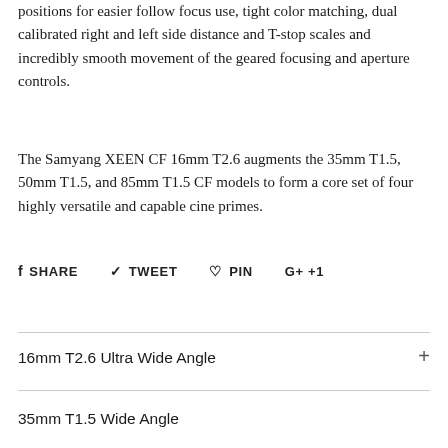positions for easier follow focus use, tight color matching, dual calibrated right and left side distance and T-stop scales and incredibly smooth movement of the geared focusing and aperture controls.
The Samyang XEEN CF 16mm T2.6 augments the 35mm T1.5, 50mm T1.5, and 85mm T1.5 CF models to form a core set of four highly versatile and capable cine primes.
SHARE  TWEET  PIN  G+ +1
16mm T2.6 Ultra Wide Angle
35mm T1.5 Wide Angle